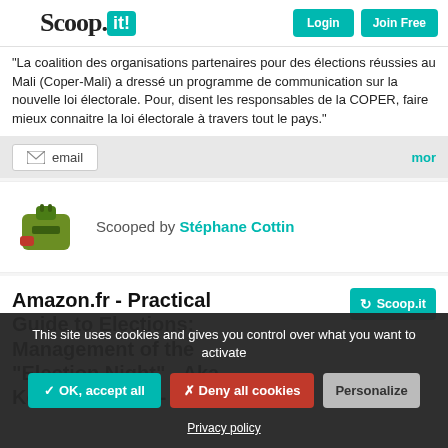Scoop.it! Login Join Free
"La coalition des organisations partenaires pour des élections réussies au Mali (Coper-Mali) a dressé un programme de communication sur la nouvelle loi électorale. Pour, disent les responsables de la COPER, faire mieux connaitre la loi électorale à travers tout le pays."
email  mor
Scooped by Stéphane Cottin
Amazon.fr - Practical Guide to Elections: Management of the "Election Night" - Aka, Komenan Dore -
This site uses cookies and gives you control over what you want to activate
OK, accept all  Deny all cookies  Personalize
Privacy policy